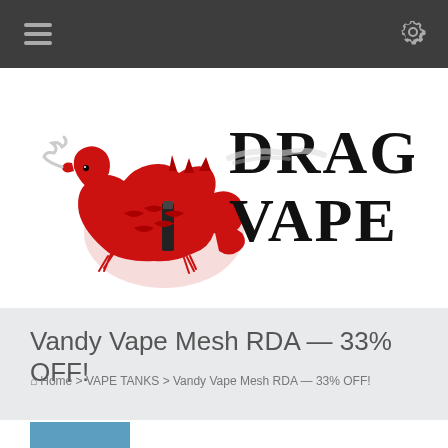Dragon Vape – navigation bar with hamburger menu and settings icon
[Figure (logo): Dragon Vape logo: red Chinese dragon on left, bold black text 'DRAGON VAPE' on right in decorative font with smoke effect]
Vandy Vape Mesh RDA — 33% OFF!
Home > VAPE TANKS > Vandy Vape Mesh RDA — 33% OFF!